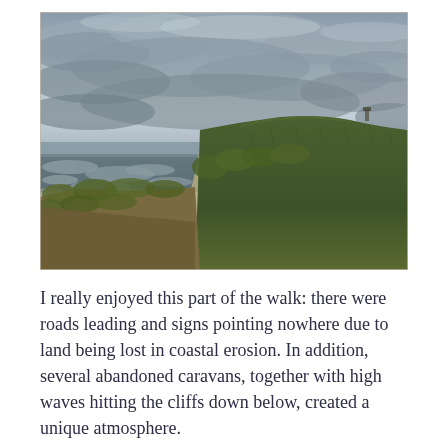[Figure (photo): Coastal landscape photograph showing a grassy clifftop path on the right, rough sea waves crashing on the left, an overcast dramatic grey sky with clouds, and a distant structure (possibly a lighthouse or tower) on the horizon. The scene depicts a windswept coastal walk.]
I really enjoyed this part of the walk: there were roads leading and signs pointing nowhere due to land being lost in coastal erosion. In addition, several abandoned caravans, together with high waves hitting the cliffs down below, created a unique atmosphere.